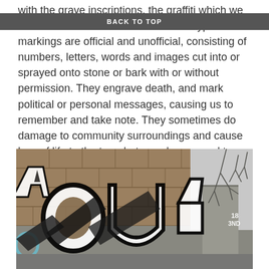with the grave inscriptions, the graffiti which we saw beside the river. These different types of markings are official and unofficial, consisting of numbers, letters, words and images cut into or sprayed onto stone or bark with or without permission. They engrave death, and mark political or personal messages, causing us to remember and take note. They sometimes do damage to community surroundings and cause loss of life to the tree, but are always used to communicate and are often enjoyed, even viewed as art.
BACK TO TOP
[Figure (photo): Photograph of graffiti on a stone wall. Large black and white graffiti letters and a cartoon face are painted on rough stone blocks. Bare trees are visible in the upper right background against an overcast sky.]